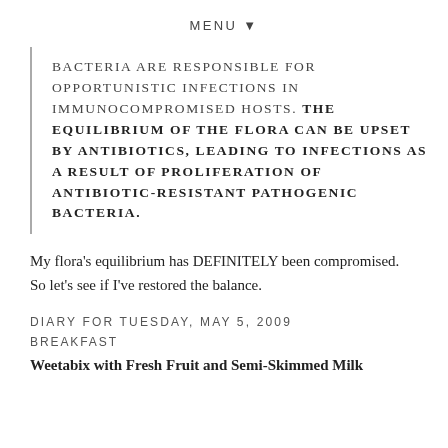MENU ▼
BACTERIA ARE RESPONSIBLE FOR OPPORTUNISTIC INFECTIONS IN IMMUNOCOMPROMISED HOSTS. THE EQUILIBRIUM OF THE FLORA CAN BE UPSET BY ANTIBIOTICS, LEADING TO INFECTIONS AS A RESULT OF PROLIFERATION OF ANTIBIOTIC-RESISTANT PATHOGENIC BACTERIA.
My flora's equilibrium has DEFINITELY been compromised. So let's see if I've restored the balance.
DIARY FOR TUESDAY, MAY 5, 2009
BREAKFAST
Weetabix with Fresh Fruit and Semi-Skimmed Milk